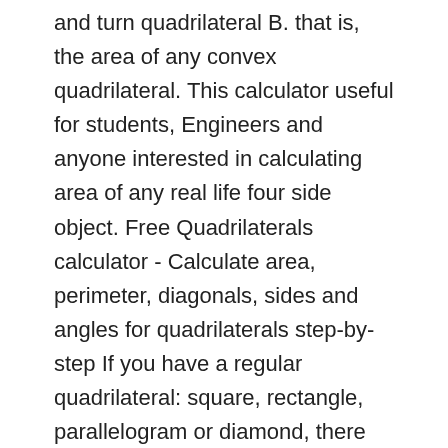and turn quadrilateral B. that is, the area of any convex quadrilateral. This calculator useful for students, Engineers and anyone interested in calculating area of any real life four side object. Free Quadrilaterals calculator - Calculate area, perimeter, diagonals, sides and angles for quadrilaterals step-by-step If you have a regular quadrilateral: square, rectangle, parallelogram or diamond, there are simple formulas to calculate the area. The formulas all work with all the different units, but unless you're a rocket scientist or a micro-biologist, you're probably computing the square footage of an area measured in feet or maybe inches. Some functions are limited now because setting of JAVASCRIPT of the browser is OFF. The area of a quadrangle is considered as the sum of the areas of the triangles into which the diagonals divide it. This is a particular